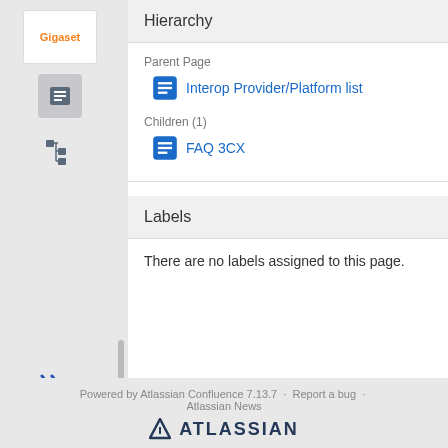[Figure (logo): Gigaset logo in orange text on white background]
Hierarchy
Parent Page
Interop Provider/Platform list
Children (1)
FAQ 3CX
Labels
There are no labels assigned to this page.
Powered by Atlassian Confluence 7.13.7 · Report a bug · Atlassian News
[Figure (logo): Atlassian logo with triangle icon and ATLASSIAN text in dark blue]